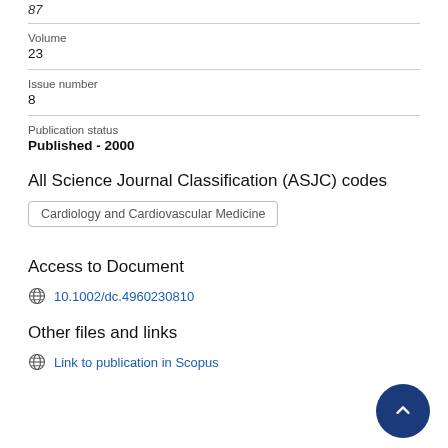87
Volume
23
Issue number
8
Publication status
Published - 2000
All Science Journal Classification (ASJC) codes
Cardiology and Cardiovascular Medicine
Access to Document
10.1002/dc.4960230810
Other files and links
Link to publication in Scopus